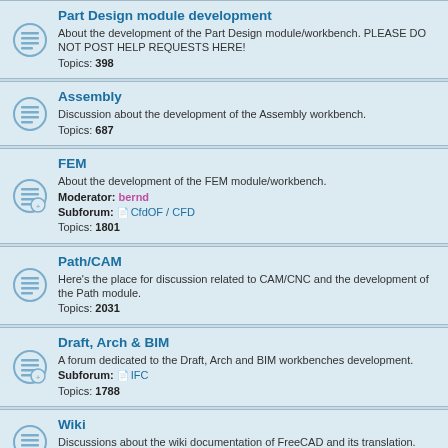Part Design module development
About the development of the Part Design module/workbench. PLEASE DO NOT POST HELP REQUESTS HERE!
Topics: 398
Assembly
Discussion about the development of the Assembly workbench.
Topics: 687
FEM
About the development of the FEM module/workbench.
Moderator: bernd
Subforum: CfdOF / CFD
Topics: 1801
Path/CAM
Here's the place for discussion related to CAM/CNC and the development of the Path module.
Topics: 2031
Draft, Arch & BIM
A forum dedicated to the Draft, Arch and BIM workbenches development.
Subforum: IFC
Topics: 1788
Wiki
Discussions about the wiki documentation of FreeCAD and its translation.
Topics: 1036
UX/UI Design
A forum for research and development of the user interface of FreeCAD
Moderator: agryson
Topics: 457